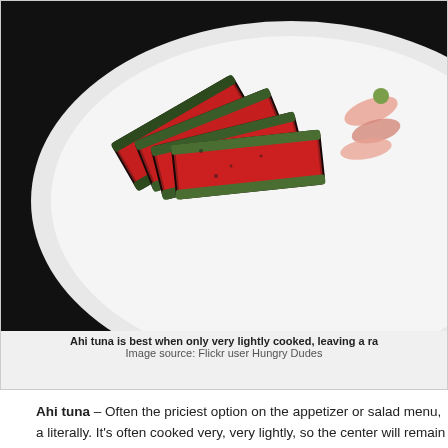[Figure (photo): Photo of sliced seared ahi tuna with herb crust on a white plate, with pickled ginger and wasabi visible on the right side.]
Ahi tuna is best when only very lightly cooked, leaving a ra... Image source: Flickr user Hungry Dudes
Ahi tuna – Often the priciest option on the appetizer or salad menu, a literally. It's often cooked very, very lightly, so the center will remain qu color. The flavor is strong but sweet, so it's a wonderful choice for som more taste than tilapia but isn't quite ready for anchovies. An appetizer for an incredibly healthy meal, or try it in sushi (preferably as sashimi c full flavor).
Whether you're all aboard the seafood bandwagon or just dipping your Waiter.com can help you find the perfect option for your next food deliv